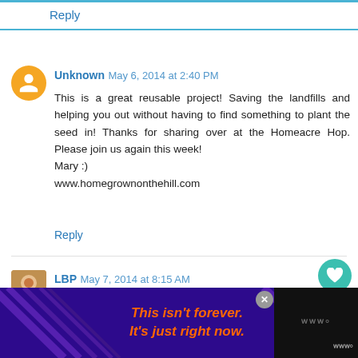Reply
Unknown May 6, 2014 at 2:40 PM
This is a great reusable project! Saving the landfills and helping you out without having to find something to plant the seed in! Thanks for sharing over at the Homeacre Hop. Please join us again this week!
Mary :)
www.homegrownonthehill.com
Reply
LBP May 7, 2014 at 8:15 AM
I would never have thought about that! Time to start saving my K-cups!
Blessings
[Figure (infographic): Purple/dark blue advertisement banner at bottom with diagonal line decorations. Orange italic text reads: This isn’t forever. It’s just right now. Close button (X) visible. Tuneln logo at bottom right.]